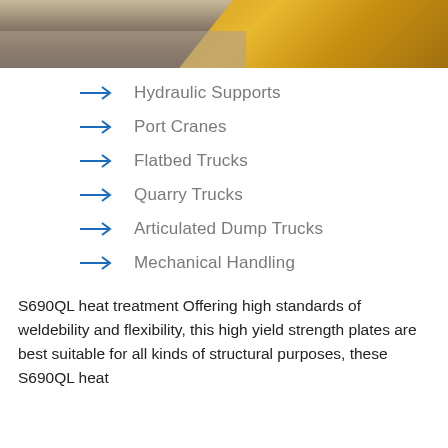[Figure (photo): Photograph of industrial equipment, likely a yellow heavy machinery or steel plate on a truck bed in a warehouse or industrial setting]
Hydraulic Supports
Port Cranes
Flatbed Trucks
Quarry Trucks
Articulated Dump Trucks
Mechanical Handling
S690QL heat treatment Offering high standards of weldebility and flexibility, this high yield strength plates are best suitable for all kinds of structural purposes, these S690QL heat